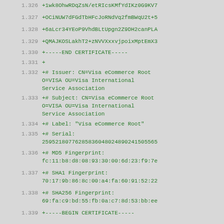1.326  +1wk8OhwRDqZsN/etRIcsKMfYdIKz0G9KV7...
1.327  +OCiNUW7dFGdTbHFcJoRNdVq2fmBWqU2t+5...
1.328  +6aLcr34YEoP9VhdBLtUpgn2Z9DH2canPLA...
1.329  +QMAJKOSLakhT2+zNVVXxxvjpoixMptEmX3...
1.330  +-----END CERTIFICATE-----
1.331  +
1.332  +# Issuer: CN=Visa eCommerce Root O=VISA OU=Visa International Service Association
1.333  +# Subject: CN=Visa eCommerce Root O=VISA OU=Visa International Service Association
1.334  +# Label: "Visa eCommerce Root"
1.335  +# Serial: 259521807762858360480248902415055565...
1.336  +# MD5 Fingerprint: fc:11:b8:d8:08:93:30:00:6d:23:f9:7e...
1.337  +# SHA1 Fingerprint: 70:17:9b:86:8c:00:a4:fa:60:91:52:22...
1.338  +# SHA256 Fingerprint: 69:fa:c9:bd:55:fb:0a:c7:8d:53:bb:ee...
1.339  +-----BEGIN CERTIFICATE-----